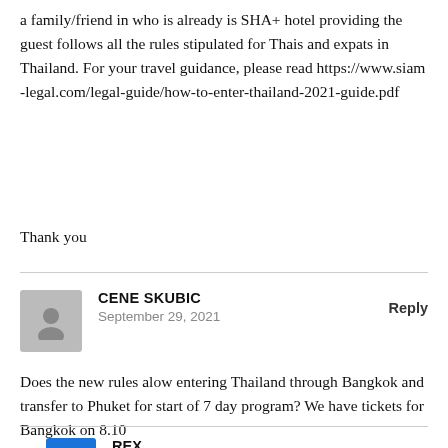a family/friend in who is already is SHA+ hotel providing the guest follows all the rules stipulated for Thais and expats in Thailand. For your travel guidance, please read https://www.siam-legal.com/legal-guide/how-to-enter-thailand-2021-guide.pdf
Thank you
CENE SKUBIC
September 29, 2021
Reply
Does the new rules alow entering Thailand through Bangkok and transfer to Phuket for start of 7 day program? We have tickets for Bangkok on 8.10
REX
September 29, 2021